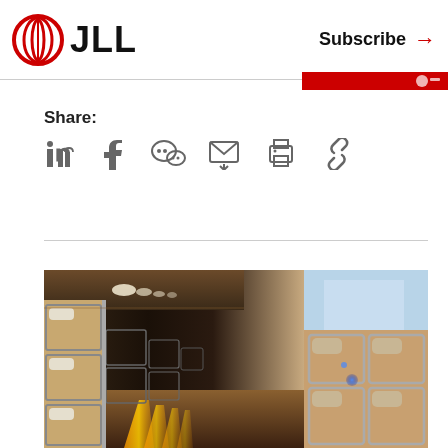JLL | Subscribe
Share:
[Figure (infographic): Social share icons: LinkedIn, Facebook, WeChat, Email, Print, Link]
[Figure (photo): Interior of a capsule hotel hallway with rows of sleeping pods on both sides, illuminated by blue lights and orange floor lighting strips, with wood paneling and metal frames]